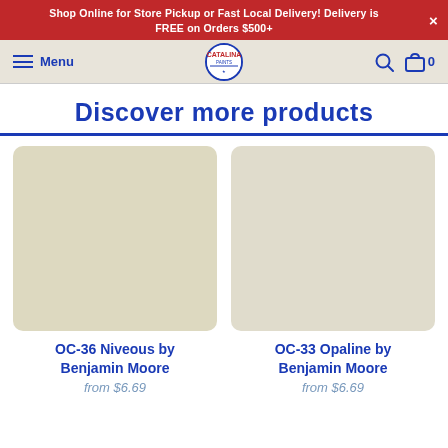Shop Online for Store Pickup or Fast Local Delivery! Delivery is FREE on Orders $500+
[Figure (screenshot): Catalina Paint navigation bar with hamburger menu, logo, search icon, and cart icon showing 0 items]
Discover more products
[Figure (illustration): Paint color swatch for OC-36 Niveous by Benjamin Moore - a warm off-white/cream color]
OC-36 Niveous by Benjamin Moore
from $6.69
[Figure (illustration): Paint color swatch for OC-33 Opaline by Benjamin Moore - a soft off-white color]
OC-33 Opaline by Benjamin Moore
from $6.69